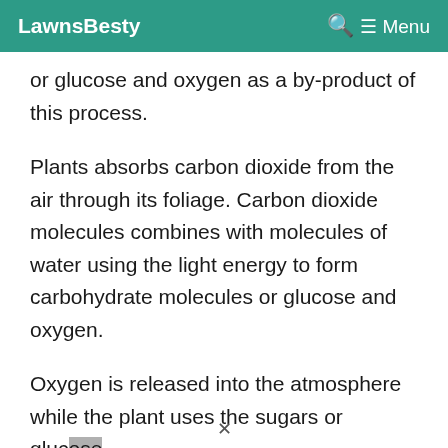LawnsBesty  Menu
or glucose and oxygen as a by-product of this process.
Plants absorbs carbon dioxide from the air through its foliage. Carbon dioxide molecules combines with molecules of water using the light energy to form carbohydrate molecules or glucose and oxygen.
Oxygen is released into the atmosphere while the plant uses the sugars or glucose